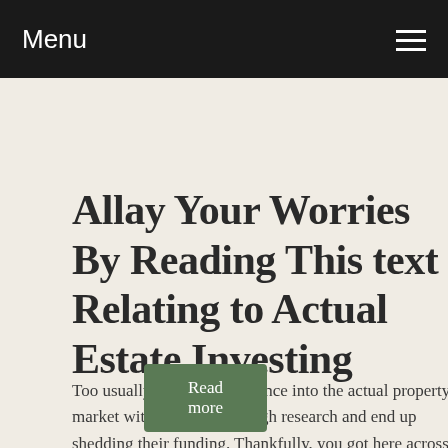Menu
Allay Your Worries By Reading This text Relating to Actual Estate Investing
Too usually, individuals bounce into the actual property market with out doing enough research and end up shedding their funding. Thankfully, you got here across this great article that may present you the precise manner to t…
Read more